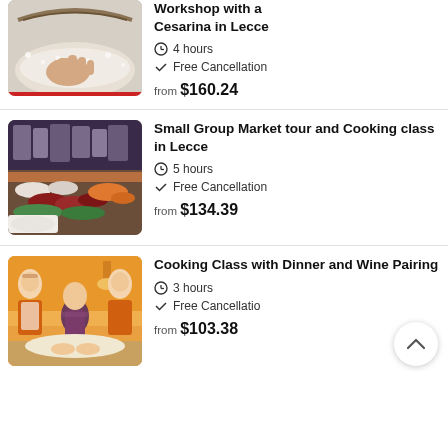[Figure (photo): Hands sifting flour, baking/pasta making workshop]
Workshop with a Cesarina in Lecce
4 hours
Free Cancellation
from $160.24
[Figure (photo): Market food stall with fresh fish and meat]
Small Group Market tour and Cooking class in Lecce
5 hours
Free Cancellation
from $134.39
[Figure (photo): Three women in orange aprons at a cooking class]
Cooking Class with Dinner and Wine Pairing
3 hours
Free Cancellation
from $103.38